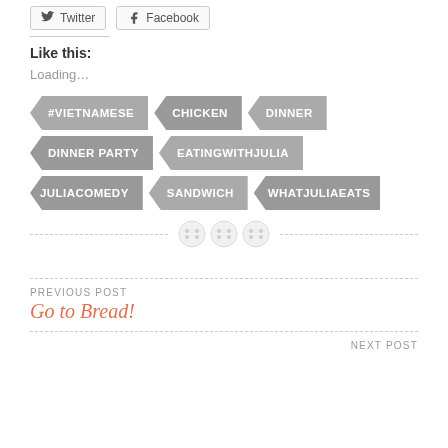[Figure (other): Social share buttons for Twitter and Facebook]
Like this:
Loading...
#VIETNAMESE
CHICKEN
DINNER
DINNER PARTY
EATINGWITHJULIA
JULIACOMEDY
SANDWICH
WHATJULIAEATS
[Figure (other): Decorative divider with three button/circle icons on a dashed line]
PREVIOUS POST
Go to Bread!
NEXT POST